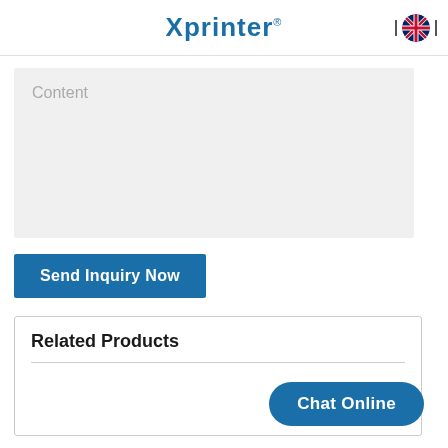Xprinter
Content
Send Inquiry Now
Related Products
Chat Online